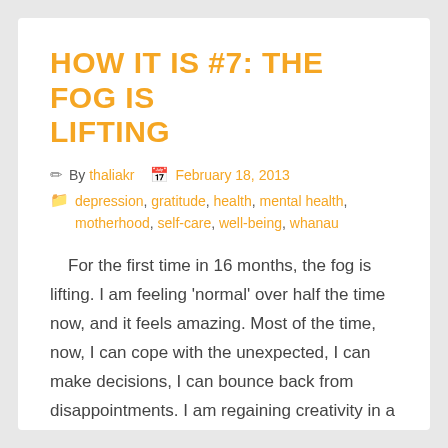HOW IT IS #7: THE FOG IS LIFTING
By thaliakr  February 18, 2013
depression, gratitude, health, mental health, motherhood, self-care, well-being, whanau
For the first time in 16 months, the fog is lifting. I am feeling ‘normal’ over half the time now, and it feels amazing. Most of the time, now, I can cope with the unexpected, I can make decisions, I can bounce back from disappointments. I am regaining creativity in a few directions. I’m […]
Read More »